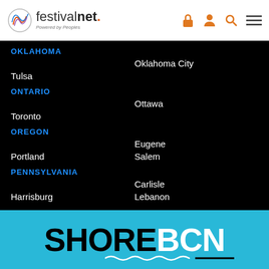festivalnet. Powered by Peoples
OKLAHOMA — Oklahoma City, Tulsa
ONTARIO — Ottawa, Toronto
OREGON — Eugene, Portland, Salem
PENNSYLVANIA — Carlisle, Harrisburg, Lebanon
[Figure (logo): SHORE BCN logo on teal/cyan background with wave underline decoration]